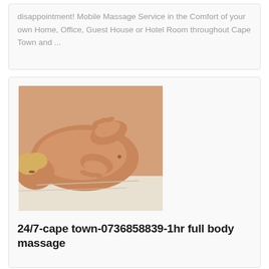disappointment! Mobile Massage Service in the Comfort of your own Home, Office, Guest House or Hotel Room throughout Cape Town and ...
[Figure (photo): A person receiving a back massage, lying face down with the masseuse's hands on their upper back and neck area.]
24/7-cape town-0736858839-1hr full body massage